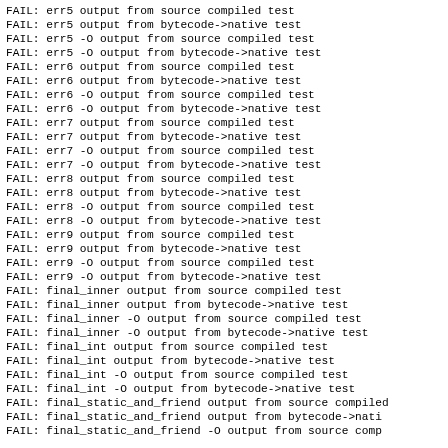FAIL: err5 output from source compiled test
FAIL: err5 output from bytecode->native test
FAIL: err5 -O output from source compiled test
FAIL: err5 -O output from bytecode->native test
FAIL: err6 output from source compiled test
FAIL: err6 output from bytecode->native test
FAIL: err6 -O output from source compiled test
FAIL: err6 -O output from bytecode->native test
FAIL: err7 output from source compiled test
FAIL: err7 output from bytecode->native test
FAIL: err7 -O output from source compiled test
FAIL: err7 -O output from bytecode->native test
FAIL: err8 output from source compiled test
FAIL: err8 output from bytecode->native test
FAIL: err8 -O output from source compiled test
FAIL: err8 -O output from bytecode->native test
FAIL: err9 output from source compiled test
FAIL: err9 output from bytecode->native test
FAIL: err9 -O output from source compiled test
FAIL: err9 -O output from bytecode->native test
FAIL: final_inner output from source compiled test
FAIL: final_inner output from bytecode->native test
FAIL: final_inner -O output from source compiled test
FAIL: final_inner -O output from bytecode->native test
FAIL: final_int output from source compiled test
FAIL: final_int output from bytecode->native test
FAIL: final_int -O output from source compiled test
FAIL: final_int -O output from bytecode->native test
FAIL: final_static_and_friend output from source compiled
FAIL: final_static_and_friend output from bytecode->nati
FAIL: final_static_and_friend -O output from source comp